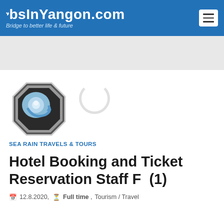JobsInYangon.com — Bridge to better life & future
[Figure (logo): Sea Rain Travels & Tours octagon logo with blue globe/swirl graphic]
SEA RAIN TRAVELS & TOURS
Hotel Booking and Ticket Reservation Staff F  (1)
12.8.2020,  Full time , Tourism / Travel